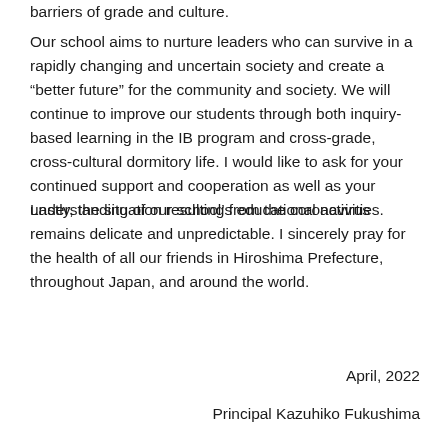barriers of grade and culture.
Our school aims to nurture leaders who can survive in a rapidly changing and uncertain society and create a “better future” for the community and society. We will continue to improve our students through both inquiry-based learning in the IB program and cross-grade, cross-cultural dormitory life. I would like to ask for your continued support and cooperation as well as your understanding of our school’s educational activities.
Lastly, the situation resulting from the coronavirus remains delicate and unpredictable. I sincerely pray for the health of all our friends in Hiroshima Prefecture, throughout Japan, and around the world.
April, 2022
Principal Kazuhiko Fukushima